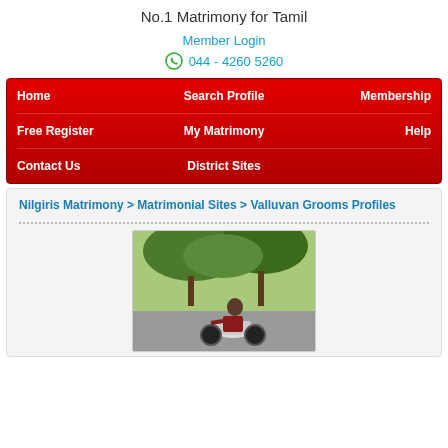No.1 Matrimony for Tamil
Member Login
044 - 4260 5260
Home | Search Profile | Membership | Free Register | My Matrimony | Help | Contact Us | District Sites
Nilgiris Matrimony > Matrimonial Sites > Valluvan Grooms Profiles
[Figure (photo): A young man on a motorcycle outdoors with green trees in background]